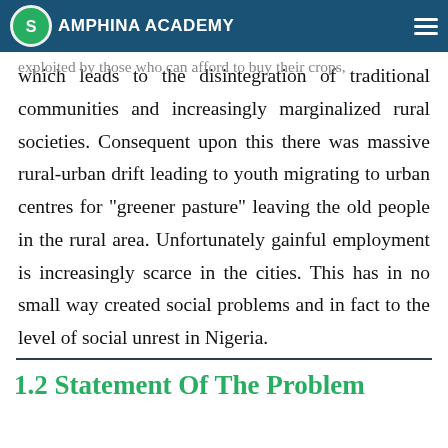AMPHINA ACADEMY
catch and handle. Fishers are often demeaned and exploited by those who can afford to buy their crops, which leads to the disintegration of traditional communities and increasingly marginalized rural societies. Consequent upon this there was massive rural-urban drift leading to youth migrating to urban centres for “greener pasture” leaving the old people in the rural area. Unfortunately gainful employment is increasingly scarce in the cities. This has in no small way created social problems and in fact to the level of social unrest in Nigeria.
1.2 Statement Of The Problem